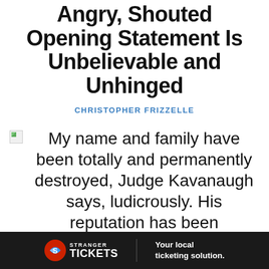Angry, Shouted Opening Statement Is Unbelievable and Unhinged
CHRISTOPHER FRIZZELLE
My name and family have been totally and permanently destroyed, Judge Kavanaugh says, ludicously. His reputation has been destroyed, but his family is intact.
"My name and family have been totally and permanently destroyed," Judge Kavanaugh says, the first of many exaggerations. His reputation has been destroyed, but his family is intact. YOUTUBE SCREENSHOT
[Figure (advertisement): Stranger Tickets - Your local ticketing solution. Ad banner with logo and tagline on dark background.]